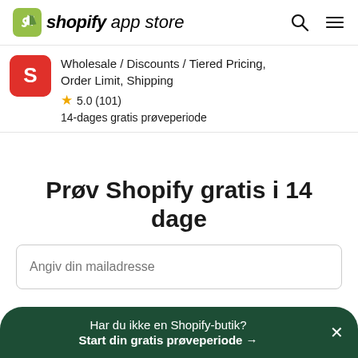shopify app store
Wholesale / Discounts / Tiered Pricing, Order Limit, Shipping
★ 5.0 (101)
14-dages gratis prøveperiode
Prøv Shopify gratis i 14 dage
Angiv din mailadresse
Har du ikke en Shopify-butik?
Start din gratis prøveperiode →